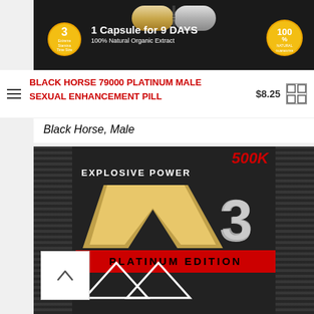[Figure (photo): Black Horse 79000 product packaging showing a capsule, gold badge with '3 Extreme Stamina Time Size', text '1 Capsule for 9 DAYS', '100% Natural Organic Extract', and a '100% Natural' gold seal]
BLACK HORSE 79000 PLATINUM MALE SEXUAL ENHANCEMENT PILL
$8.25
Black Horse, Male
[Figure (photo): Product packaging showing '500K', 'EXPLOSIVE POWER', V3 logo in gold and silver, 'PLATINUM EDITION' red banner, and geometric shapes on dark background]